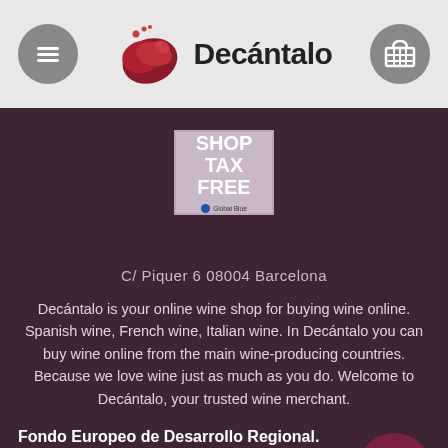Decántalo
[Figure (logo): Shop Tax Free Global Blue badge - pink/mauve background with white bold text SHOP TAX FREE and Global Blue logo]
C/ Piquer 6 08004 Barcelona
Decántalo is your online wine shop for buying wine online. Spanish wine, French wine, Italian wine. In Decántalo you can buy wine online from the main wine-producing countries. Because we love wine just as much as you do. Welcome to Decántalo, your trusted wine merchant.
Fondo Europeo de Desarrollo Regional. Una manera de hacer Europa
Decántalo Vinos, S.L. ha participado en el